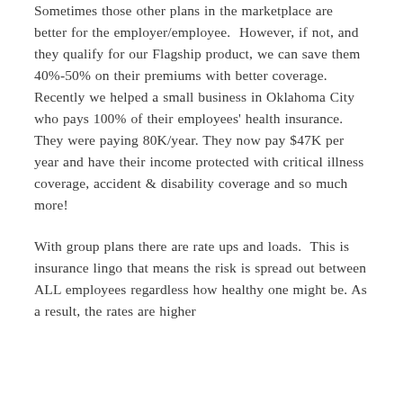Sometimes those other plans in the marketplace are better for the employer/employee. However, if not, and they qualify for our Flagship product, we can save them 40%-50% on their premiums with better coverage. Recently we helped a small business in Oklahoma City who pays 100% of their employees' health insurance. They were paying 80K/year. They now pay $47K per year and have their income protected with critical illness coverage, accident & disability coverage and so much more!
With group plans there are rate ups and loads. This is insurance lingo that means the risk is spread out between ALL employees regardless how healthy one might be. As a result, the rates are higher